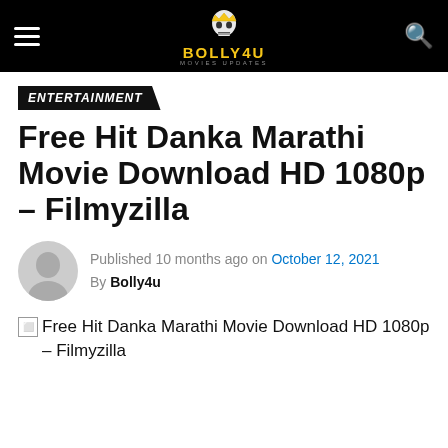Bolly4u Movies Updates — navigation header
ENTERTAINMENT
Free Hit Danka Marathi Movie Download HD 1080p – Filmyzilla
Published 10 months ago on October 12, 2021
By Bolly4u
[Figure (other): Broken image placeholder for Free Hit Danka Marathi Movie Download HD 1080p – Filmyzilla article image]
Free Hit Danka Marathi Movie Download HD 1080p – Filmyzilla